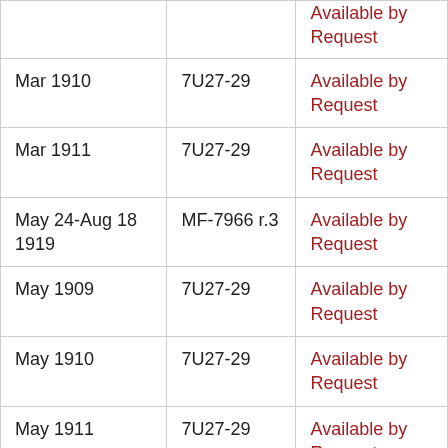| Date | Call Number | Availability |
| --- | --- | --- |
| Mar 1910 | 7U27-29 | Available by Request |
| Mar 1911 | 7U27-29 | Available by Request |
| May 24-Aug 18 1919 | MF-7966 r.3 | Available by Request |
| May 1909 | 7U27-29 | Available by Request |
| May 1910 | 7U27-29 | Available by Request |
| May 1911 | 7U27-29 | Available by Request |
| Nov 10-Jan 31 | MF-7966 r.5 | Available by |